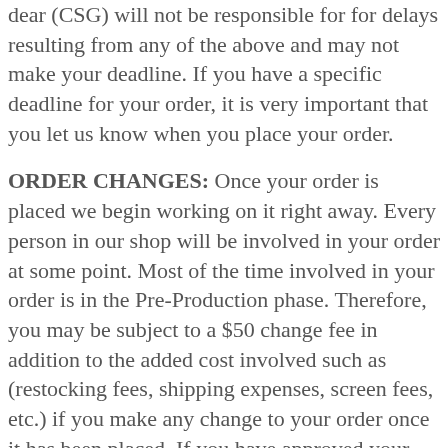dear (CSG) will not be responsible for for delays resulting from any of the above and may not make your deadline. If you have a specific deadline for your order, it is very important that you let us know when you place your order.
ORDER CHANGES: Once your order is placed we begin working on it right away. Every person in our shop will be involved in your order at some point. Most of the time involved in your order is in the Pre-Production phase. Therefore, you may be subject to a $50 change fee in addition to the added cost involved such as (restocking fees, shipping expenses, screen fees, etc.) if you make any change to your order once it has been placed. If you have approved your proof(s) and screens have been